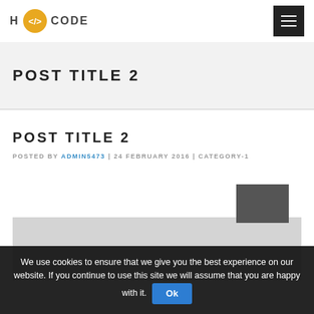H CODE
POST TITLE 2
POST TITLE 2
POSTED BY ADMIN5473 | 24 FEBRUARY 2016 | CATEGORY-1
[Figure (photo): Gray image placeholder with dark triangle/image element in bottom right]
We use cookies to ensure that we give you the best experience on our website. If you continue to use this site we will assume that you are happy with it. Ok